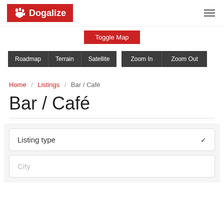Dogalize
Toggle Map
Roadmap  Terrain  Satellite  Zoom In  Zoom Out
Home / Listings / Bar / Café
Bar / Café
Listing type
City